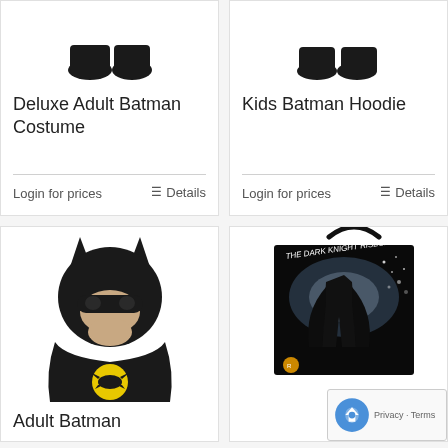[Figure (photo): Partial top of Deluxe Adult Batman Costume product image (shoes/feet visible)]
Deluxe Adult Batman Costume
Login for prices
Details
[Figure (photo): Partial top of Kids Batman Hoodie product image (shoes/feet visible)]
Kids Batman Hoodie
Login for prices
Details
[Figure (photo): Adult Batman mask/cowl product photo showing black Batman mask with yellow Batman logo chest piece]
Adult Batman
[Figure (photo): The Dark Knight Rises trick-or-treat bag with movie poster artwork showing Batman in action]